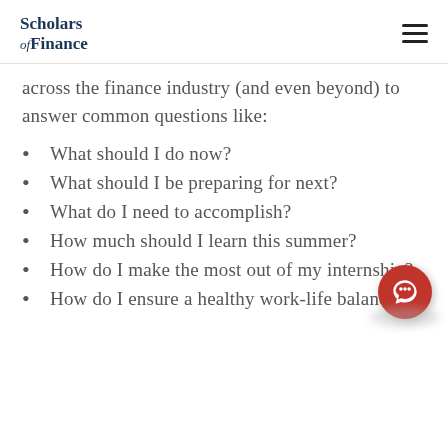Scholars of Finance
across the finance industry (and even beyond) to answer common questions like:
What should I do now?
What should I be preparing for next?
What do I need to accomplish?
How much should I learn this summer?
How do I make the most out of my internship?
How do I ensure a healthy work-life balance?